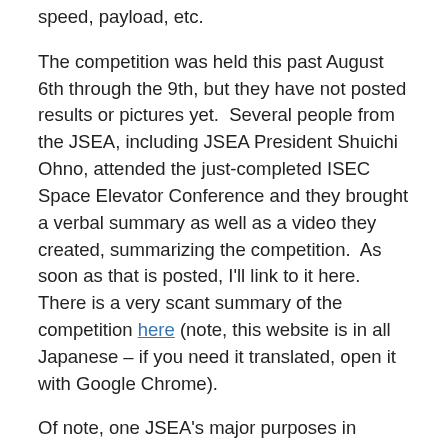speed, payload, etc.
The competition was held this past August 6th through the 9th, but they have not posted results or pictures yet.  Several people from the JSEA, including JSEA President Shuichi Ohno, attended the just-completed ISEC Space Elevator Conference and they brought a verbal summary as well as a video they created, summarizing the competition.  As soon as that is posted, I'll link to it here.  There is a very scant summary of the competition here (note, this website is in all Japanese – if you need it translated, open it with Google Chrome).
Of note, one JSEA's major purposes in attending the ISEC Space Elevator Conference was to begin the effort to turn this into an international competition.  While this competition is held in Japan each year, only once or twice has something similar happened in Europe and, since the ending of the NASA/Spaceward Space Elevator Games, nothing like this